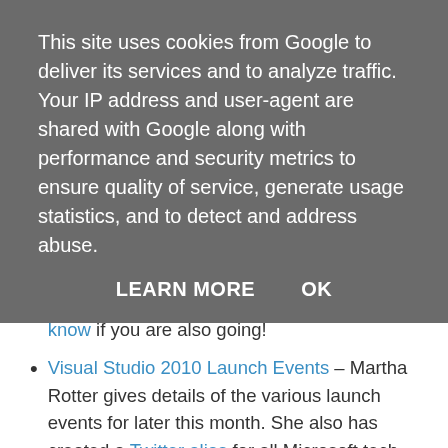This site uses cookies from Google to deliver its services and to analyze traffic. Your IP address and user-agent are shared with Google along with performance and security metrics to ensure quality of service, generate usage statistics, and to detect and address abuse.
LEARN MORE   OK
Open Coding – The second Irish open spaces coding day is in Dublin on Saturday 24th April. I am definitely attending, so let me know if you are also going!
Visual Studio 2010 Launch Events – Martha Rotter gives details of the various launch events for later this month. She also has created a Twitter alias for all Microsoft tech events in Ireland - @MSIrlTechEvents
Microsoft Office and SharePoint Roadshow for IT Pros – Read details of the venues and dates for the joint release in Ireland.
Careers